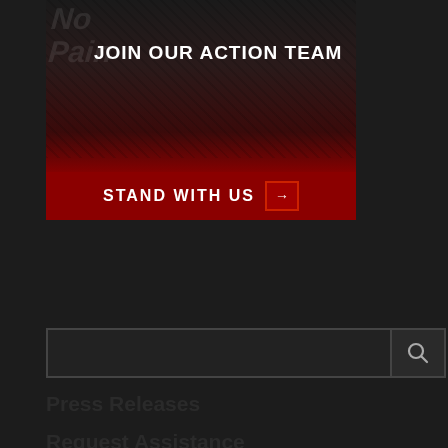[Figure (photo): Dark protest/action image banner with 'JOIN OUR ACTION TEAM' text overlay at top and 'STAND WITH US' with arrow icon on red bar at bottom]
[Figure (screenshot): Search box with magnifying glass icon button on dark background]
Press Releases
Request Assistance